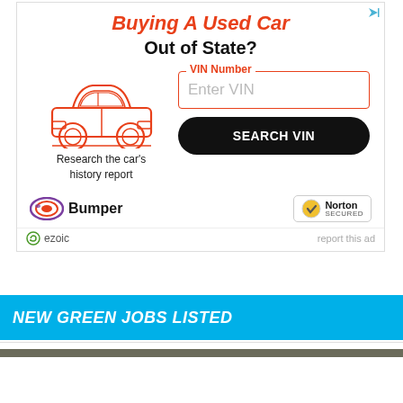[Figure (infographic): Advertisement for Bumper VIN search service. Title reads 'Buying A Used Car Out of State?' with a car illustration, VIN Number input field, SEARCH VIN button, Bumper logo, and Norton Secured badge.]
ezoic
report this ad
NEW GREEN JOBS LISTED